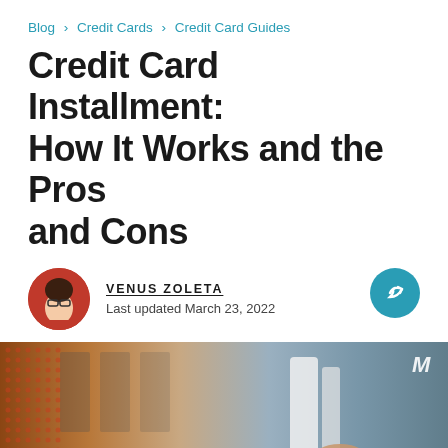Blog > Credit Cards > Credit Card Guides
Credit Card Installment: How It Works and the Pros and Cons
VENUS ZOLETA
Last updated March 23, 2022
[Figure (photo): Hero image showing hands with a receipt/credit card terminal, with an overlay banner reading 'Credit Card Installment' on a teal background, with a decorative dot pattern on the left and a logo 'M' on the top right.]